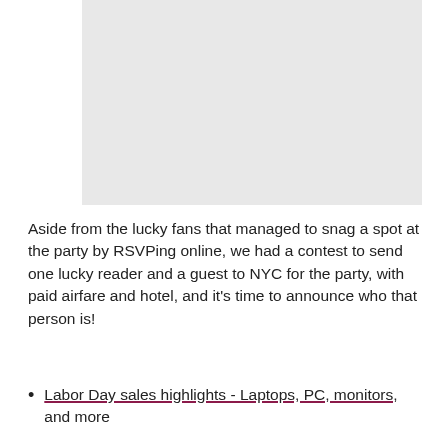[Figure (photo): Gray placeholder image area at the top of the page]
Aside from the lucky fans that managed to snag a spot at the party by RSVPing online, we had a contest to send one lucky reader and a guest to NYC for the party, with paid airfare and hotel, and it's time to announce who that person is!
Labor Day sales highlights - Laptops, PC, monitors, and more